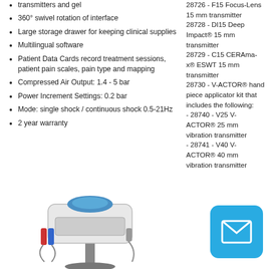transmitters and gel
360° swivel rotation of interface
Large storage drawer for keeping clinical supplies
Multilingual software
Patient Data Cards record treatment sessions, patient pain scales, pain type and mapping
Compressed Air Output: 1.4 - 5 bar
Power Increment Settings: 0.2 bar
Mode: single shock / continuous shock 0.5-21Hz
2 year warranty
28726 - F15 Focus-Lens 15 mm transmitter
28728 - DI15 Deep Impact® 15 mm transmitter
28729 - C15 CERAmax® ESWT 15 mm transmitter
28730 - V-ACTOR® hand piece applicator kit that includes the following:
- 28740 - V25 V-ACTOR® 25 mm vibration transmitter
- 28741 - V40 V-ACTOR® 40 mm vibration transmitter
[Figure (photo): Medical device - shockwave therapy machine on a stand with handpieces and accessories]
[Figure (other): Blue rounded square button with email/envelope icon]